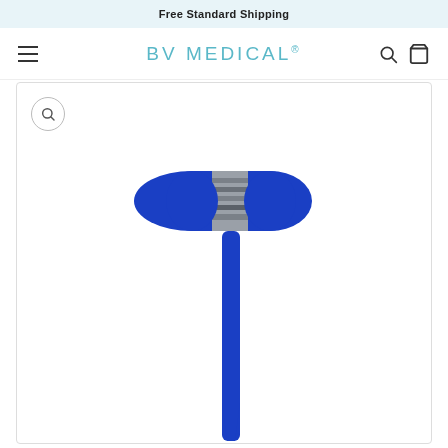Free Standard Shipping
BV MEDICAL®
[Figure (photo): A blue capsule-shaped medical device (likely a reflex hammer head or diagnostic tool) with a silver/chrome metallic band in the center, attached to a blue handle/cable extending downward, shown on a white background.]